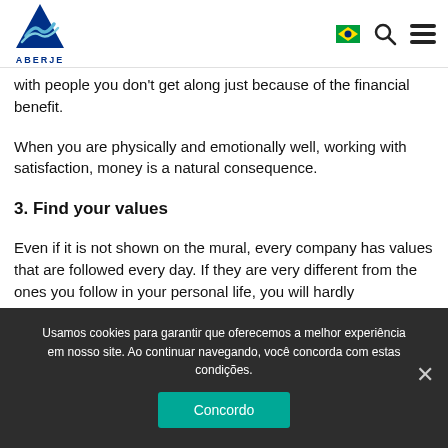[Figure (logo): ABERJE logo — blue triangle with stylized wave, text ABERJE below]
with people you don't get along just because of the financial benefit.
When you are physically and emotionally well, working with satisfaction, money is a natural consequence.
3. Find your values
Even if it is not shown on the mural, every company has values that are followed every day. If they are very different from the ones you follow in your personal life, you will hardly
Usamos cookies para garantir que oferecemos a melhor experiência em nosso site. Ao continuar navegando, você concorda com estas condições.
Concordo